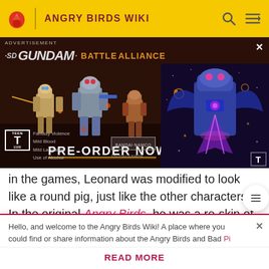ANGRY BIRDS WIKI
[Figure (screenshot): SD Gundam Battle Alliance advertisement banner with mech robots and 'PRE-ORDER NOW' text, ESRB Teen rating, Bandai Namco branding]
in the games, Leonard was modified to look like a round pig, just like the other characters. In the original Angry Birds, he was a re-skin of King Pig, though with a green beard on his face. In Angry Birds 2, he is a square-shaped pig with green skin and a darker beard. This design was kept in Angry Birds Reloaded, though his skin is lime
Hello, and welcome to the Angry Birds Wiki! A place where you could find or share information about the Angry Birds and Bad Piggies franchise. Before joining the wiki, make sure to read all
READ MORE